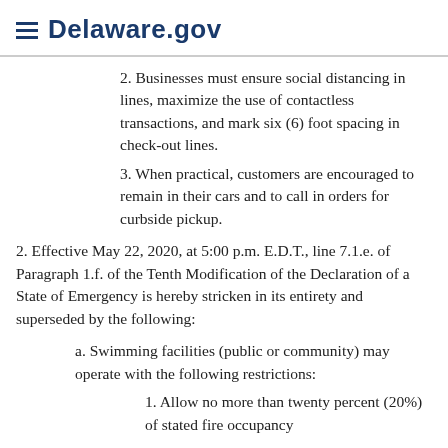Delaware.gov
2. Businesses must ensure social distancing in lines, maximize the use of contactless transactions, and mark six (6) foot spacing in check-out lines.
3. When practical, customers are encouraged to remain in their cars and to call in orders for curbside pickup.
2. Effective May 22, 2020, at 5:00 p.m. E.D.T., line 7.1.e. of Paragraph 1.f. of the Tenth Modification of the Declaration of a State of Emergency is hereby stricken in its entirety and superseded by the following:
a. Swimming facilities (public or community) may operate with the following restrictions:
1. Allow no more than twenty percent (20%) of stated fire occupancy